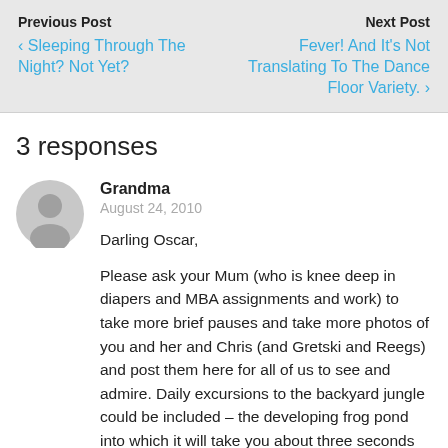Previous Post
‹ Sleeping Through The Night? Not Yet?
Next Post
Fever! And It's Not Translating To The Dance Floor Variety. ›
3 responses
Grandma
August 24, 2010
Darling Oscar,
Please ask your Mum (who is knee deep in diapers and MBA assignments and work) to take more brief pauses and take more photos of you and her and Chris (and Gretski and Reegs) and post them here for all of us to see and admire. Daily excursions to the backyard jungle could be included – the developing frog pond into which it will take you about three seconds once you learn to climb to enter,,,,) the turkey-scaring training sessions, the mangy cat explorations, the sultana obsession etc etc – all grist to the photographic or videographic mill. Home today for a little while hoping the stove person comes and rescues me from the culinary doldrums into which I have fallen over the past two years and out of